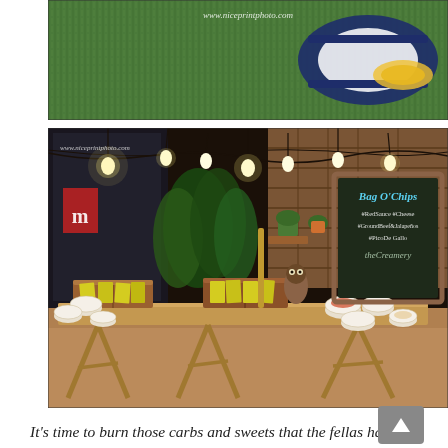[Figure (photo): Overhead/aerial photo of people on green grass turf with navy and white bag/object visible, watermark www.niceprintphoto.com]
[Figure (photo): Indoor/outdoor restaurant or event setup photo showing a wooden trestle table with chip/snack display, white bowls, yellow chip packets in wooden crates, plant decorations with hanging string lights, a chalkboard sign reading 'Bag O' Chips #RedSauce #Cheese #GroundBeef&Jalapeños #PicoDe Gallo the Creamery', stone wall background, watermark www.niceprintphoto.com]
It's time to burn those carbs and sweets that the fellas had in their systems. Bayani had some support coming from his beautiful wife while